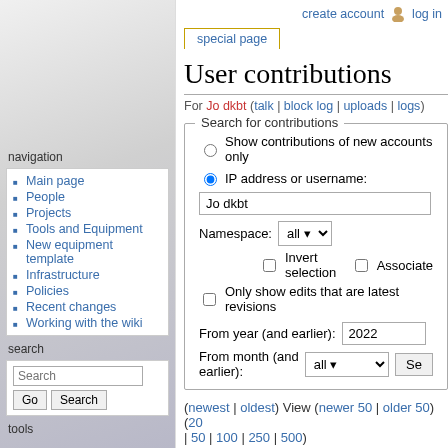create account  log in
User contributions
For Jo dkbt (talk | block log | uploads | logs)
Search for contributions
Show contributions of new accounts only
IP address or username:
Jo dkbt
Namespace: all
Invert selection  Associated
Only show edits that are latest revisions
From year (and earlier): 2022
From month (and earlier): all
(newest | oldest) View (newer 50 | older 50) (20 | 50 | 100 | 250 | 500)
21:25, 6 May 2015 (diff | hist) . . (+1) . . Equipment/Screenprinting (→Screens)
navigation
Main page
People
Projects
Tools and Equipment
New equipment template
Infrastructure
Policies
Recent changes
Working with the wiki
search
tools